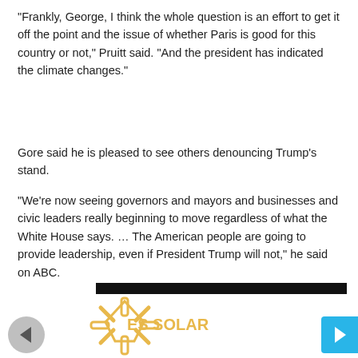“Frankly, George, I think the whole question is an effort to get it off the point and the issue of whether Paris is good for this country or not,” Pruitt said. “And the president has indicated the climate changes.”
Gore said he is pleased to see others denouncing Trump’s stand.
“We’re now seeing governors and mayors and businesses and civic leaders really beginning to move regardless of what the White House says. … The American people are going to provide leadership, even if President Trump will not,” he said on ABC.
[Figure (logo): ES Solar logo with asterisk/star symbol in yellow/gold outline style, with company name ES SOLAR in yellow text]